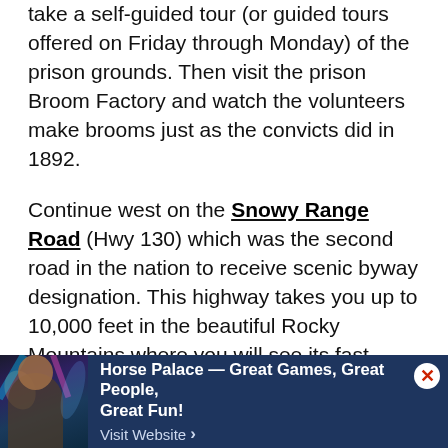take a self-guided tour (or guided tours offered on Friday through Monday) of the prison grounds. Then visit the prison Broom Factory and watch the volunteers make brooms just as the convicts did in 1892.
Continue west on the Snowy Range Road (Hwy 130) which was the second road in the nation to receive scenic byway designation. This highway takes you up to 10,000 feet in the beautiful Rocky Mountains where you will see its fast-moving streams, deep alpine lakes, rugged wilderness, dramatic mountain ranges and abundant wildlife. Visit the quaint small towns of
[Figure (photo): Advertisement banner with dark navy background. Left side shows a party/event photo with people and colorful lights. Text reads: Horse Palace — Great Games, Great People, Great Fun! Visit Website > with a close (X) button in upper right.]